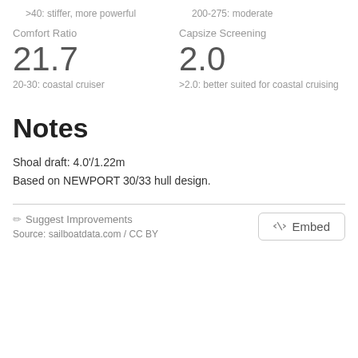>40: stiffer, more powerful
200-275: moderate
Comfort Ratio
Capsize Screening
21.7
2.0
20-30: coastal cruiser
>2.0: better suited for coastal cruising
Notes
Shoal draft: 4.0’/1.22m
Based on NEWPORT 30/33 hull design.
✏ Suggest Improvements
Source: sailboatdata.com / CC BY
<> Embed